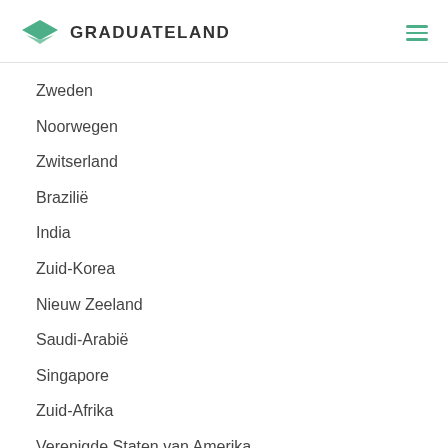GRADUATELAND
Zweden
Noorwegen
Zwitserland
Brazilië
India
Zuid-Korea
Nieuw Zeeland
Saudi-Arabië
Singapore
Zuid-Afrika
Verenigde Staten van Amerika
Japan
China
Aantal werknemers
10.001+